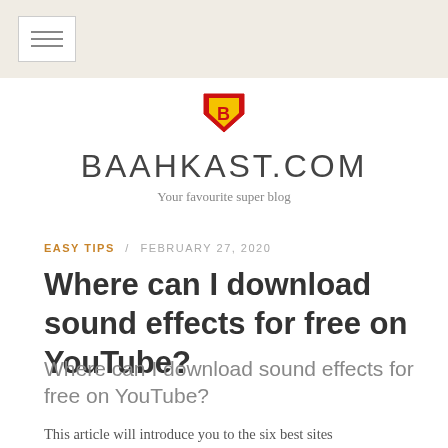≡
[Figure (logo): Superman-style shield logo with letter B, red and yellow colors]
BAAHKAST.COM
Your favourite super blog
EASY TIPS / FEBRUARY 27, 2020
Where can I download sound effects for free on YouTube?
Where can I download sound effects for free on YouTube?
This article will introduce you to the six best sites